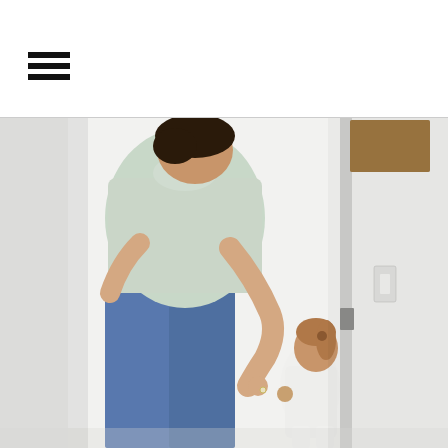[Figure (photo): A tall adult (father) in a light mint/grey t-shirt and blue jeans bends forward, holding the hand of a small toddler girl with a ponytail wearing white clothes, standing in a bright white hallway/doorway interior scene.]